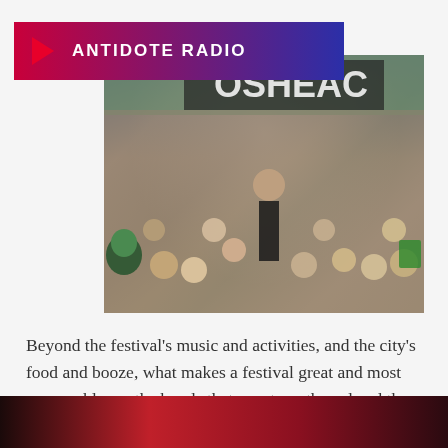[Figure (logo): Antidote Radio logo banner with play button icon and text 'ANTIDOTE RADIO' on a gradient red-to-blue background]
[Figure (photo): Crowd at an outdoor music festival with a large audience; a man in a black t-shirt is elevated above the crowd; a person in a Kermit the Frog costume is visible on the left; a large sign reading 'OSHEAC' is visible in the background.]
Beyond the festival's music and activities, and the city's food and booze, what makes a festival great and most memorable are the bonds that are strengthened and the
[Figure (other): Dark red-to-black gradient footer bar at the bottom of the page]